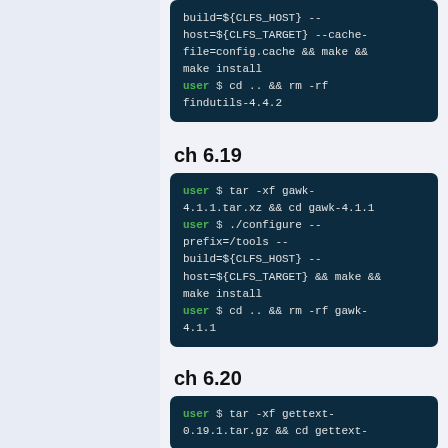[Figure (screenshot): Code block showing build and install commands for findutils: build=${CLFS_HOST} -- host=${CLFS_TARGET} --cache-file=config.cache && make && make install; user $ cd .. && rm -rf findutils-4.4.2]
ch 6.19
[Figure (screenshot): Code block for gawk: user $ tar -xf gawk-4.1.1.tar.xz && cd gawk-4.1.1; user $ ./configure --prefix=/tools --build=${CLFS_HOST} --host=${CLFS_TARGET} && make && make install; user $ cd .. && rm -rf gawk-4.1.1]
ch 6.20
[Figure (screenshot): Code block starting: user $ tar -xf gettext-0.19.1.tar.gz && cd gettext-...]